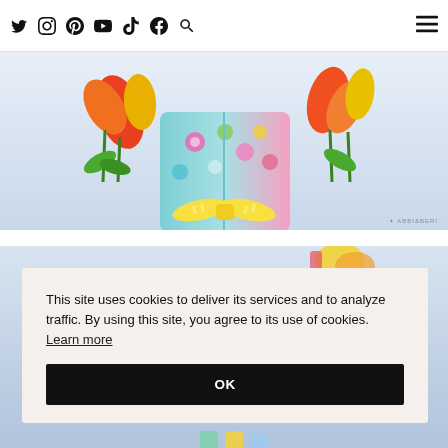Twitter Instagram Pinterest YouTube TikTok Facebook Search [hamburger menu]
[Figure (photo): Colorful floral gift bag with tulips and a yellow striped bow, on a light blue/white background, with a small watermark in the bottom right.]
[Figure (photo): Light blue background with partial view of colorful party/Easter items peeking in from top and bottom edges, behind a cookie consent overlay.]
This site uses cookies to deliver its services and to analyze traffic. By using this site, you agree to its use of cookies.  Learn more
OK